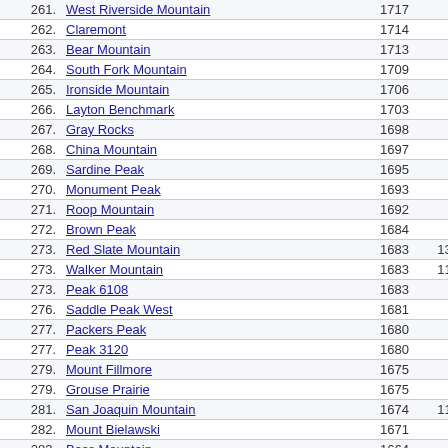| # | Name | Prom | Elev | Range |
| --- | --- | --- | --- | --- |
| 261. | West Riverside Mountain | 1717 | 2667 | Southeast... |
| 262. | Claremont | 1714 | 6994 | Northwes... |
| 263. | Bear Mountain | 1713 | 2893 | Carson-Ic... |
| 264. | South Fork Mountain | 1709 | 6072 | North Hu... |
| 265. | Ironside Mountain | 1706 | 5249 | Salmon M... |
| 266. | Layton Benchmark | 1703 | 5180 | Northwes... |
| 267. | Gray Rocks | 1698 | 7258 | Trinity Mo... |
| 268. | China Mountain | 1697 | 8551 | Scott-Sc... |
| 269. | Sardine Peak | 1695 | 8135 | Bald Mou... |
| 270. | Monument Peak | 1693 | 7762 | Salmon M... |
| 271. | Roop Mountain | 1692 | 7613 | Modoc-La... |
| 272. | Brown Peak | 1684 | 4947 | Amargos... |
| 273. | Red Slate Mountain | 1683 | 13,123 | Mammoth... |
| 273. | Walker Mountain | 1683 | 11,563 | Northern... |
| 273. | Peak 6108 | 1683 | 6108 | Scott-Sco... |
| 276. | Saddle Peak West | 1681 | 2806 | Santa Mo... |
| 277. | Packers Peak | 1680 | 7840 | Salmon M... |
| 277. | Peak 3120 | 1680 | 3120 | North Hu... |
| 279. | Mount Fillmore | 1675 | 7715 | Central N... |
| 279. | Grouse Prairie | 1675 | 5153 | Trinity-Ha... |
| 281. | San Joaquin Mountain | 1674 | 11,549 | Mammoth... |
| 282. | Mount Bielawski | 1671 | 3231 | Santa Cru... |
| 283. | Bass Mountain | 1664 | 2784 | California... |
| 284. | Atlas Peak | 1663 | 2663 | Wine Co... |